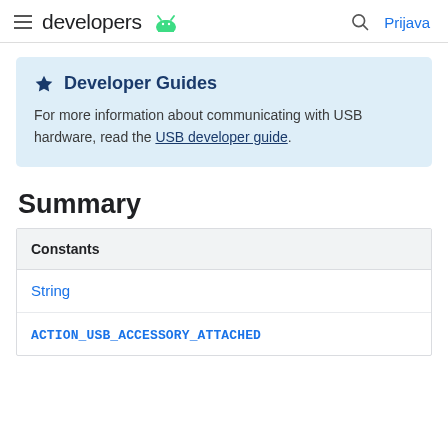developers  Prijava
Developer Guides
For more information about communicating with USB hardware, read the USB developer guide.
Summary
| Constants |
| --- |
| String |
| ACTION_USB_ACCESSORY_ATTACHED |